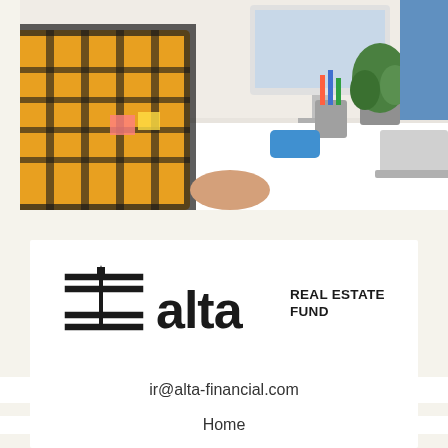[Figure (photo): Office scene with person in yellow plaid shirt leaning over a white desk, computer monitor in background, laptop, plant, and office supplies on desk]
[Figure (logo): Alta Real Estate Fund logo with horizontal lines and stylized symbol on the left, bold 'alta' text in center, and 'REAL ESTATE FUND' text on the right]
ir@alta-financial.com
Home